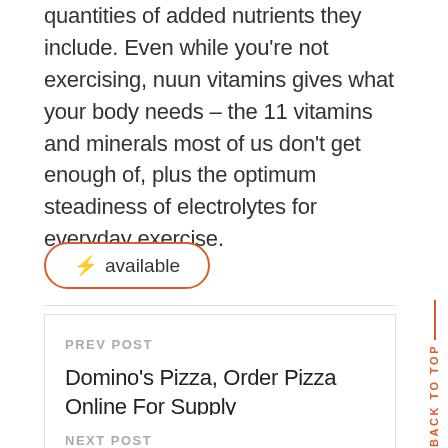quantities of added nutrients they include. Even while you're not exercising, nuun vitamins gives what your body needs – the 11 vitamins and minerals most of us don't get enough of, plus the optimum steadiness of electrolytes for everyday exercise.
⚡ available
PREV POST
Domino's Pizza, Order Pizza Online For Supply
NEXT POST